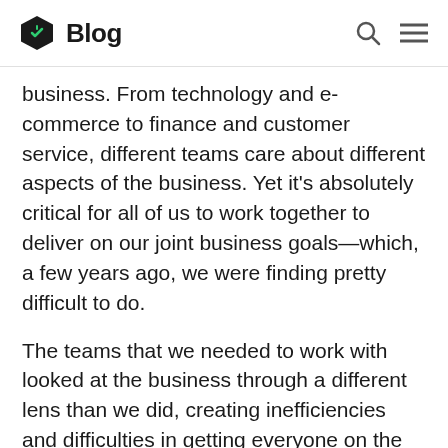Blog
business. From technology and e-commerce to finance and customer service, different teams care about different aspects of the business. Yet it's absolutely critical for all of us to work together to deliver on our joint business goals—which, a few years ago, we were finding pretty difficult to do.
The teams that we needed to work with looked at the business through a different lens than we did, creating inefficiencies and difficulties in getting everyone on the same page. Despite everyone having the best intentions, without the right tools and